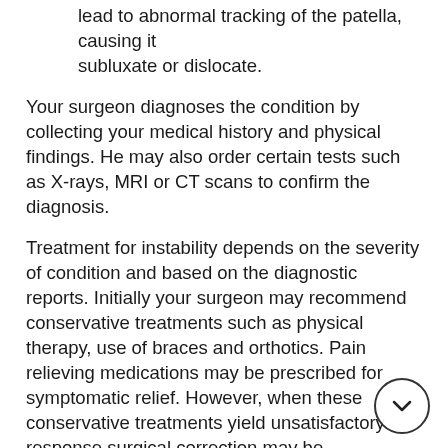lead to abnormal tracking of the patella, causing it subluxate or dislocate.
Your surgeon diagnoses the condition by collecting your medical history and physical findings. He may also order certain tests such as X-rays, MRI or CT scans to confirm the diagnosis.
Treatment for instability depends on the severity of condition and based on the diagnostic reports. Initially your surgeon may recommend conservative treatments such as physical therapy, use of braces and orthotics. Pain relieving medications may be prescribed for symptomatic relief. However, when these conservative treatments yield unsatisfactory response surgical correction may be recommended.
Considering the type and severity of injury surgeon decides on the surgical correction. A lateral retinacular release may be performed where your surgeon releases or cuts the tight ligaments on the lateral side (outside) of